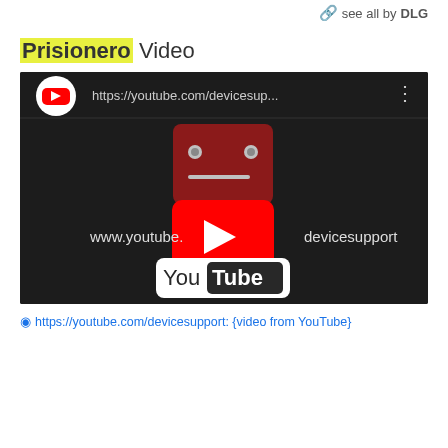see all by DLG
Prisionero Video
[Figure (screenshot): YouTube video embed showing a device support error page. The video player displays a YouTube logo, an error robot icon, and the URL https://youtube.com/devicesup... in the top bar. The center shows www.youtube...devicesupport text and a YouTube play button overlay. The bottom shows the YouTube logo on white background.]
⊙ https://youtube.com/devicesupport: {video from YouTube}